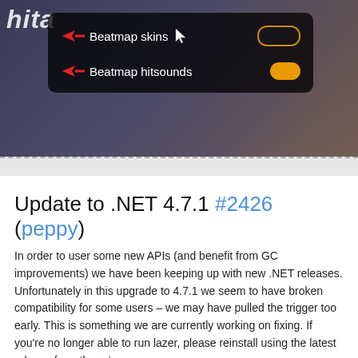[Figure (screenshot): Screenshot of a game settings overlay showing 'Beatmap skins' and 'Beatmap hitsounds' options with toggle switches, with red arrows pointing to each option. Partially visible italic title 'hita' in the background.]
Update to .NET 4.7.1 #2426 (peppy)
In order to user some new APIs (and benefit from GC improvements) we have been keeping up with new .NET releases. Unfortunately in this upgrade to 4.7.1 we seem to have broken compatibility for some users – we may have pulled the trigger too early. This is something we are currently working on fixing. If you're no longer able to run lazer, please reinstall using the latest release from the releases page.
Add beatmap ID lookup to BeatmapSetOverlay #2350 (naoey)
With this change, links in chat which point directly to beatmap